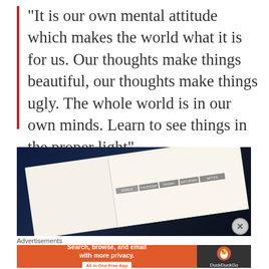“It is our own mental attitude which makes the world what it is for us. Our thoughts make things beautiful, our thoughts make things ugly. The whole world is in our own minds. Learn to see things in the proper light”.
[Figure (photo): A photograph of an open weekly planner/notebook showing days of the week columns (Tuesday, Wednesday, Thursday, Friday, Saturday, Notes, Goals) on a dark navy background with other items]
Advertisements
[Figure (other): DuckDuckGo advertisement banner: 'Search, browse, and email with more privacy. All in One Free App' with DuckDuckGo logo on dark background]